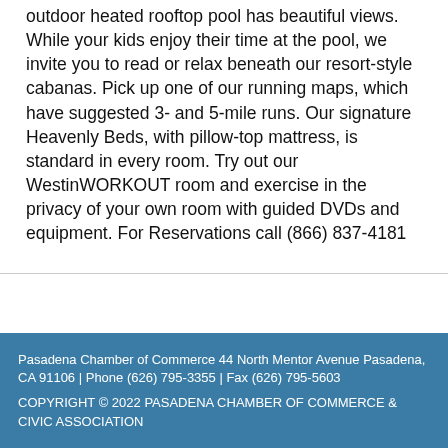outdoor heated rooftop pool has beautiful views. While your kids enjoy their time at the pool, we invite you to read or relax beneath our resort-style cabanas. Pick up one of our running maps, which have suggested 3- and 5-mile runs. Our signature Heavenly Beds, with pillow-top mattress, is standard in every room. Try out our WestinWORKOUT room and exercise in the privacy of your own room with guided DVDs and equipment. For Reservations call (866) 837-4181
Pasadena Chamber of Commerce 44 North Mentor Avenue Pasadena, CA 91106 | Phone (626) 795-3355 | Fax (626) 795-5603
COPYRIGHT © 2022 PASADENA CHAMBER OF COMMERCE & CIVIC ASSOCIATION